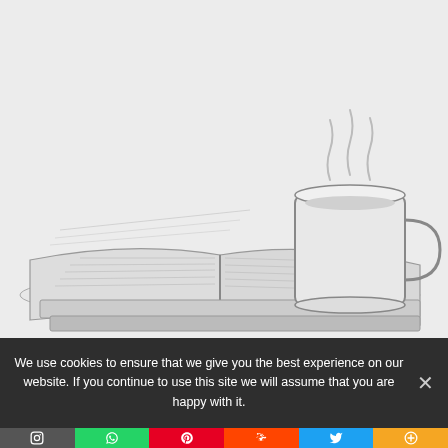[Figure (illustration): Pencil sketch illustration of an open book with a steaming coffee mug on top, on a light background]
We use cookies to ensure that we give you the best experience on our website. If you continue to use this site we will assume that you are happy with it.
[Figure (infographic): Social sharing bar with icons: Instagram (dark gray), WhatsApp (green), Pinterest (red), Reddit (orange-red), Twitter (blue), More/Plus (orange)]